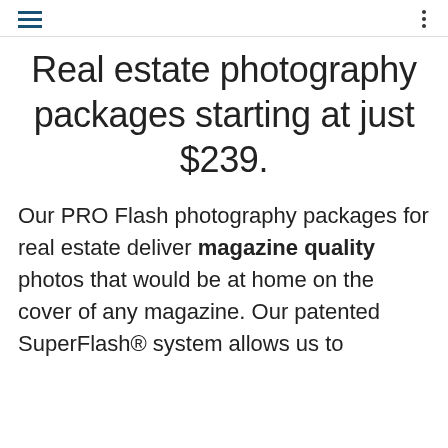[hamburger menu icon] [vertical dots menu icon]
Real estate photography packages starting at just $239.
Our PRO Flash photography packages for real estate deliver magazine quality photos that would be at home on the cover of any magazine. Our patented SuperFlash® system allows us to